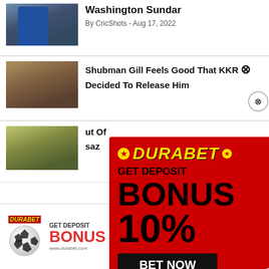Washington Sundar
By CricShots - Aug 17, 2022
Shubman Gill Feels Good That KKR Decided To Release Him
ut Of saz
[Figure (illustration): DURABET advertisement popup on red background showing 'GET DEPOSIT BONUS 10%' with soccer ball, BET NOW button, and WhatsApp number +91 8976362013]
[Figure (illustration): DURABET bottom banner ad showing logo, soccer ball, BONUS 10% text, BET NOW button, website www.durabet.com and phone +91-8976362013]